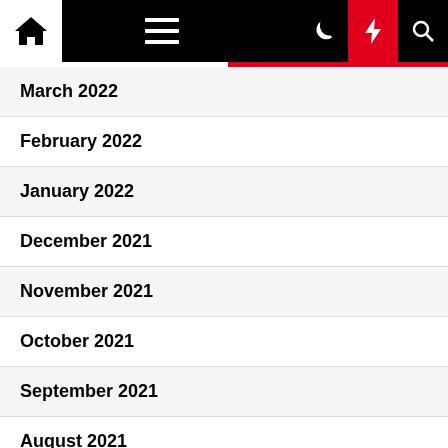Navigation bar with home, menu, moon, lightning, and search icons
March 2022
February 2022
January 2022
December 2021
November 2021
October 2021
September 2021
August 2021
July 2021
June 2021